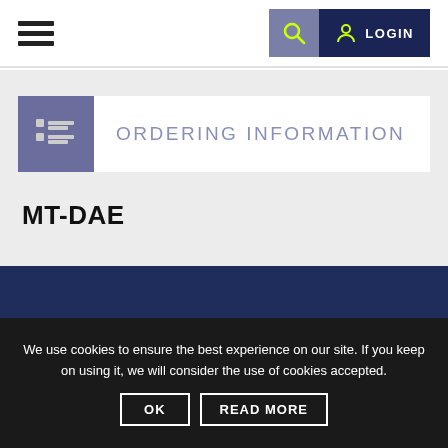[Figure (screenshot): Navigation bar with hamburger menu icon on left and search/login buttons on right]
ORDERING INFORMATION
MT-DAE
We use cookies to ensure the best experience on our site. If you keep on using it, we will consider the use of cookies accepted.